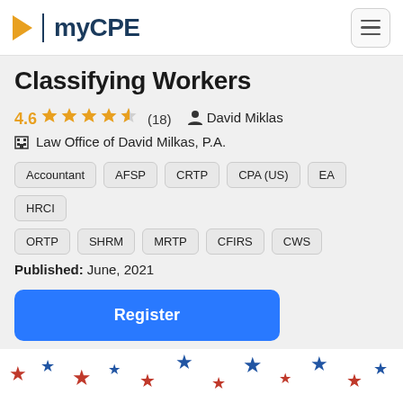myCPE
Classifying Workers
4.6 (18) David Miklas
Law Office of David Milkas, P.A.
Accountant
AFSP
CRTP
CPA (US)
EA
HRCI
ORTP
SHRM
MRTP
CFIRS
CWS
Published: June, 2021
Register
[Figure (illustration): Patriotic stars and stripes decorative banner at bottom of page]